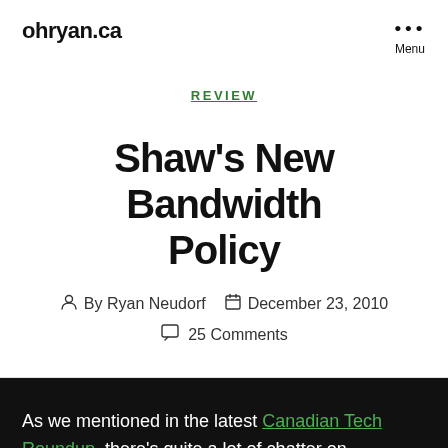ohryan.ca
REVIEW
Shaw's New Bandwidth Policy
By Ryan Neudorf   December 23, 2010
25 Comments
As we mentioned in the latest Canadian Tech Roundup, there's quite a lot of chatter on reddit.com/r/Canada about Shaw's new bandwidth policy...